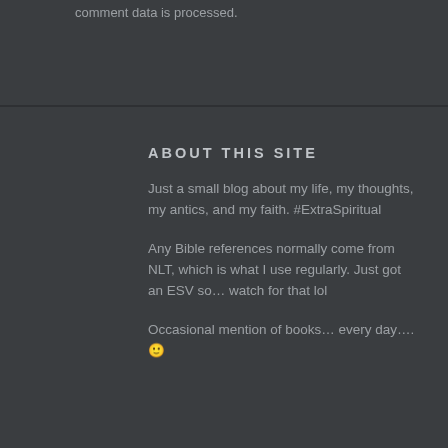comment data is processed.
ABOUT THIS SITE
Just a small blog about my life, my thoughts, my antics, and my faith. #ExtraSpiritual
Any Bible references normally come from NLT, which is what I use regularly. Just got an ESV so… watch for that lol
Occasional mention of books… every day….🙂